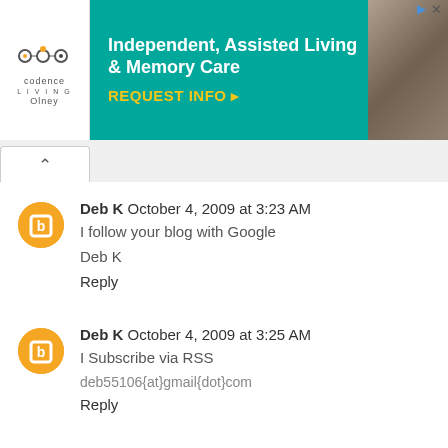[Figure (other): Advertisement banner for Codence Living - Independent, Assisted Living & Memory Care with REQUEST INFO button]
Deb K October 4, 2009 at 3:23 AM
I follow your blog with Google

Deb K

Reply
Deb K October 4, 2009 at 3:25 AM
I Subscribe via RSS

deb55106{at}gmail{dot}com

Reply